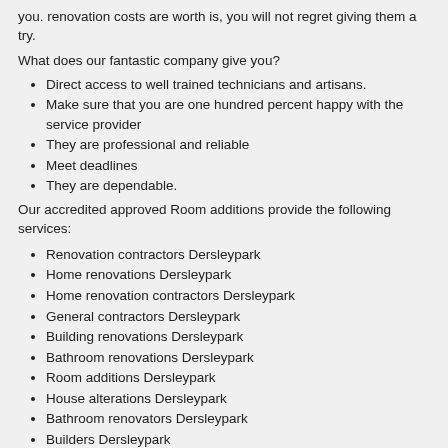you. renovation costs are worth is, you will not regret giving them a try.
What does our fantastic company give you?
Direct access to well trained technicians and artisans.
Make sure that you are one hundred percent happy with the service provider
They are professional and reliable
Meet deadlines
They are dependable.
Our accredited approved Room additions provide the following services:
Renovation contractors Dersleypark
Home renovations Dersleypark
Home renovation contractors Dersleypark
General contractors Dersleypark
Building renovations Dersleypark
Bathroom renovations Dersleypark
Room additions Dersleypark
House alterations Dersleypark
Bathroom renovators Dersleypark
Builders Dersleypark
Residential renovations Dersleypark
Kitchen bathroom repairs Dersleypark
Home extensions Dersleypark
House construction Dersleypark
Building contractors Dersleypark